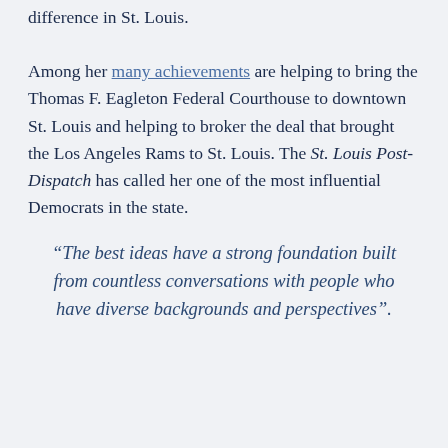difference in St. Louis. Among her many achievements are helping to bring the Thomas F. Eagleton Federal Courthouse to downtown St. Louis and helping to broker the deal that brought the Los Angeles Rams to St. Louis. The St. Louis Post-Dispatch has called her one of the most influential Democrats in the state.
“The best ideas have a strong foundation built from countless conversations with people who have diverse backgrounds and perspectives”.